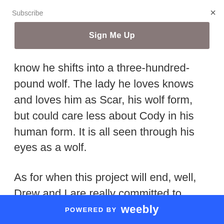×
Subscribe
Sign Me Up
know he shifts into a three-hundred-pound wolf. The lady he loves knows and loves him as Scar, his wolf form, but could care less about Cody in his human form. It is all seen through his eyes as a wolf.
As for when this project will end, well, Drew and I are really committed to keeping it going for the rest of our ‘author’ lives.
POWERED BY weebly